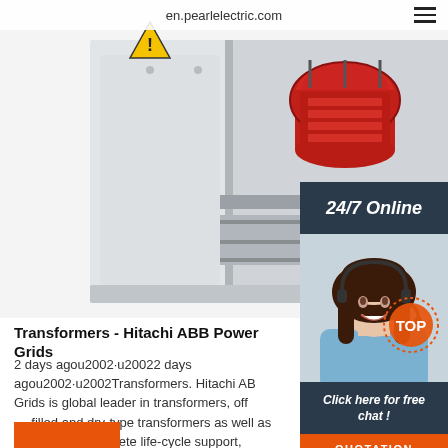en.pearlelectric.com
[Figure (photo): Outdoor electrical transformer cabinet open showing red transformer coils inside a grey metal enclosure with warning label]
[Figure (photo): 24/7 Online chat representative - smiling woman with headset wearing a blue shirt]
Transformers - Hitachi ABB Power Grids
2 days agou2002·u20022 days agou2002·u2002Transformers. Hitachi ABB Grids is global leader in transformers, offering oil-filled and dry-type transformers as well as services for complete life-cycle support, including replacement parts and components. Our portfolio allows utilities, industries and infrastructure sectors to maximize return on transformer assets by ensuring high ...
Click here for free chat !
QUOTATION